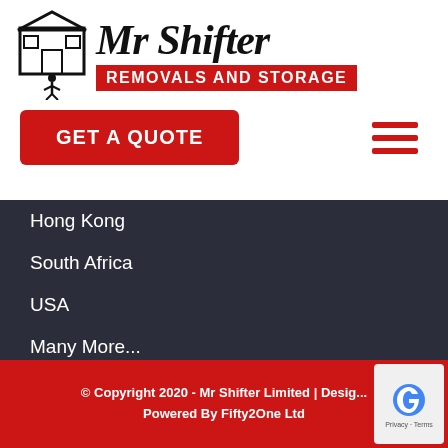[Figure (logo): Mr Shifter Removals and Storage logo with black gothic text and red banner]
GET A QUOTE
Hong Kong
South Africa
USA
Many More...
© Copyright 2020 - Mr Shifter Limited | Desig... Powered By Fifty2One Ltd